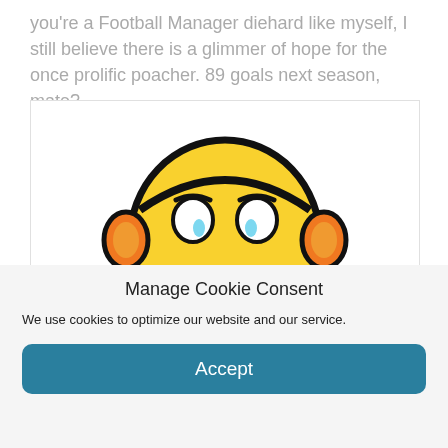you're a Football Manager diehard like myself, I still believe there is a glimmer of hope for the once prolific poacher. 89 goals next season, mate?
[Figure (illustration): A sad emoji character with orange ear-muff style accessories and blue boots, depicted in a comic/cartoon style with thick black outlines on a white background.]
Manage Cookie Consent
We use cookies to optimize our website and our service.
Accept